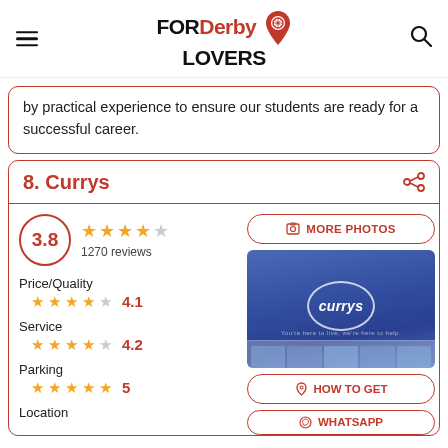FOR Derby LOVERS
by practical experience to ensure our students are ready for a successful career.
8. Currys
[Figure (photo): Currys store exterior with blue sign and white Currys logo in a circle]
3.8
1270 reviews
Price/Quality 4.1
Service 4.2
Parking 5
Location
MORE PHOTOS
HOW TO GET
WHATSAPP